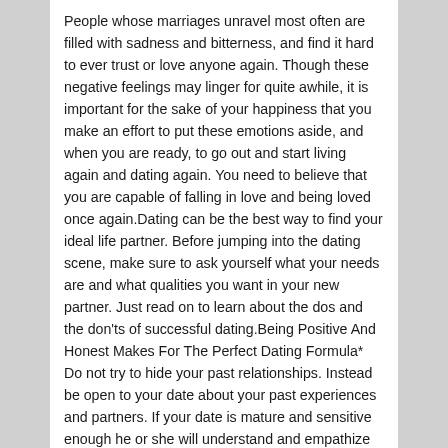People whose marriages unravel most often are filled with sadness and bitterness, and find it hard to ever trust or love anyone again. Though these negative feelings may linger for quite awhile, it is important for the sake of your happiness that you make an effort to put these emotions aside, and when you are ready, to go out and start living again and dating again. You need to believe that you are capable of falling in love and being loved once again.Dating can be the best way to find your ideal life partner. Before jumping into the dating scene, make sure to ask yourself what your needs are and what qualities you want in your new partner. Just read on to learn about the dos and the don'ts of successful dating.Being Positive And Honest Makes For The Perfect Dating Formula* Do not try to hide your past relationships. Instead be open to your date about your past experiences and partners. If your date is mature and sensitive enough he or she will understand and empathize with you.* Do not exaggerate about yourself or past experiences; remember, a relationship that is based on dishonesty is bound to fail.* Share with your date your expectations for the new